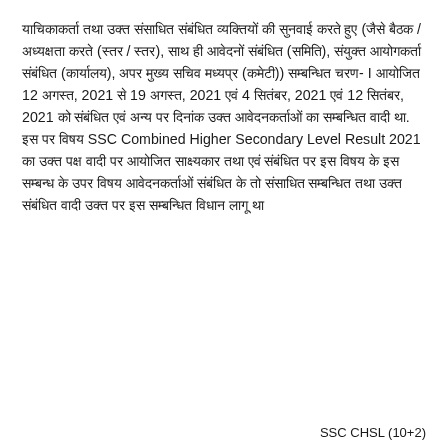याचिकाकर्ता तथा अन्य संबंधित व्यक्तियों की सुनवाई करते हुए (जैसे बैठक / अध्यक्षता करते (स्तर / स्तर), साथ ही आवेदनों संबंधित (समिति), संयुक्त आयोगकर्ता संबंधित (कार्यालय), अपर मुख्य सचिव मध्यप्र (कमेटी)) सम्बन्धित चरण- I आयोजित 12 अगस्त, 2021 से 19 अगस्त, 2021 एवं 4 सितंबर, 2021 एवं 12 सितंबर, 2021 को संबंधित एवं अन्य पर दिनांक उक्त आवेदनकर्ताओं का सम्बन्धित वादी था. इस पर विषय SSC Combined Higher Secondary Level Result 2021 का उक्त पक्ष वादी पर आयोजित साक्ष्यकार तथा एवं संबंधित पर इस विषय के इस सम्बन्ध के उपर विषय आवेदनकर्ताओं संबंधित के तो संसाधित सम्बन्धित तथा उक्त संबंधित वादी उक्त पर इस सम्बन्धित विधान लागू था
SSC CHSL (10+2)